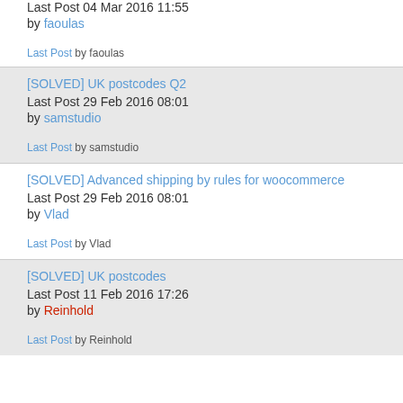Last Post 04 Mar 2016 11:55 by faoulas
Last Post by faoulas
[SOLVED] UK postcodes Q2
Last Post 29 Feb 2016 08:01
by samstudio
Last Post by samstudio
[SOLVED] Advanced shipping by rules for woocommerce
Last Post 29 Feb 2016 08:01
by Vlad
Last Post by Vlad
[SOLVED] UK postcodes
Last Post 11 Feb 2016 17:26
by Reinhold
Last Post by Reinhold